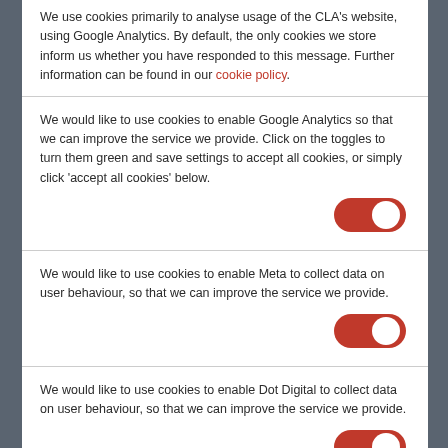We use cookies primarily to analyse usage of the CLA's website, using Google Analytics. By default, the only cookies we store inform us whether you have responded to this message. Further information can be found in our cookie policy.
We would like to use cookies to enable Google Analytics so that we can improve the service we provide. Click on the toggles to turn them green and save settings to accept all cookies, or simply click 'accept all cookies' below.
We would like to use cookies to enable Meta to collect data on user behaviour, so that we can improve the service we provide.
We would like to use cookies to enable Dot Digital to collect data on user behaviour, so that we can improve the service we provide.